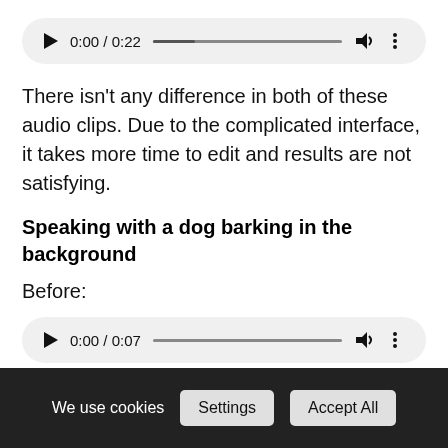[Figure (other): Audio player UI showing 0:00 / 0:22 with play button, progress bar, volume icon, and more options icon]
There isn't any difference in both of these audio clips. Due to the complicated interface, it takes more time to edit and results are not satisfying.
Speaking with a dog barking in the background
Before:
[Figure (other): Audio player UI showing 0:00 / 0:07 with play button, progress bar, volume icon, and more options icon]
We use cookies   Settings   Accept All